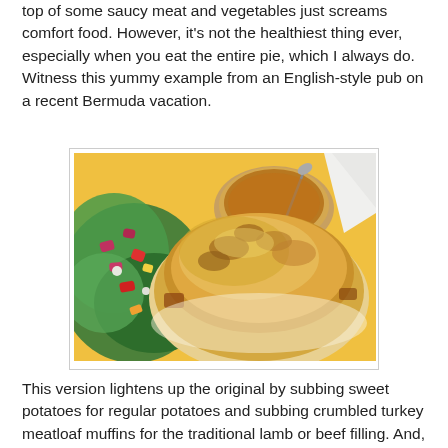top of some saucy meat and vegetables just screams comfort food. However, it's not the healthiest thing ever, especially when you eat the entire pie, which I always do. Witness this yummy example from an English-style pub on a recent Bermuda vacation.
[Figure (photo): A photo of a shepherd's pie dish served on a colorful plate with a side salad of mixed greens, red onion, tomatoes, and other vegetables, plus a small bowl of soup with a spoon, at an English-style pub in Bermuda.]
This version lightens up the original by subbing sweet potatoes for regular potatoes and subbing crumbled turkey meatloaf muffins for the traditional lamb or beef filling. And,